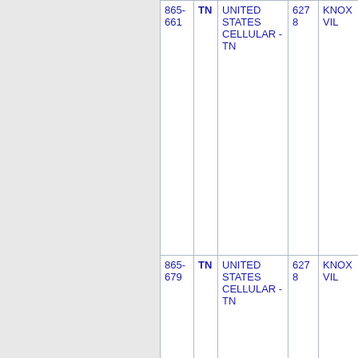| Number | State | Carrier | ZIP | City |
| --- | --- | --- | --- | --- |
| 865-661 | TN | UNITED STATES CELLULAR - TN | 6278 | KNOXVIL... |
| 865-679 | TN | UNITED STATES CELLULAR - TN | 6278 | KNOXVIL... |